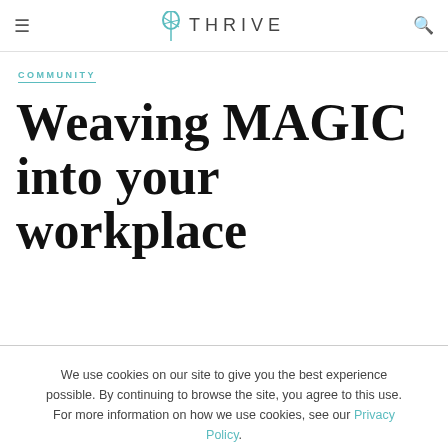THRIVE
COMMUNITY
Weaving MAGIC into your workplace
We use cookies on our site to give you the best experience possible. By continuing to browse the site, you agree to this use. For more information on how we use cookies, see our Privacy Policy.
CONTINUE